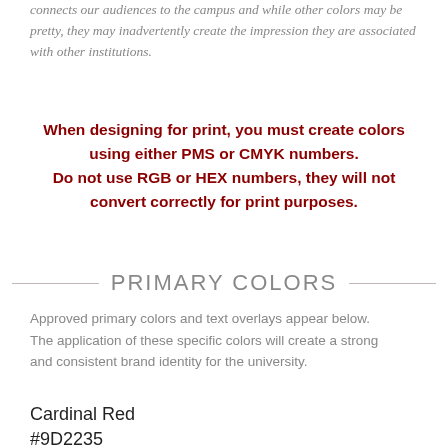connects our audiences to the campus and while other colors may be pretty, they may inadvertently create the impression they are associated with other institutions.
When designing for print, you must create colors using either PMS or CMYK numbers. Do not use RGB or HEX numbers, they will not convert correctly for print purposes.
PRIMARY COLORS
Approved primary colors and text overlays appear below. The application of these specific colors will create a strong and consistent brand identity for the university.
Cardinal Red
#9D2235